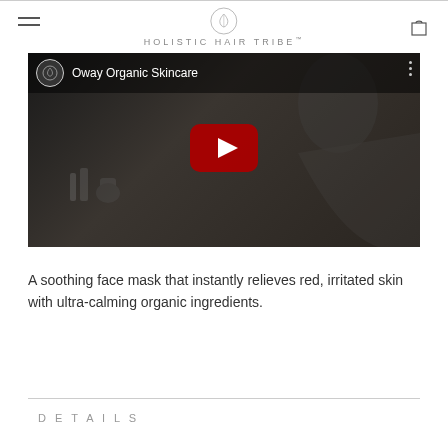HOLISTIC HAIR TRIBE
[Figure (screenshot): YouTube video thumbnail for 'Oway Organic Skincare' showing a dark-toned video with a YouTube play button in the center, a channel icon on the top left, and skincare product bottles visible in the background.]
A soothing face mask that instantly relieves red, irritated skin with ultra-calming organic ingredients.
DETAILS